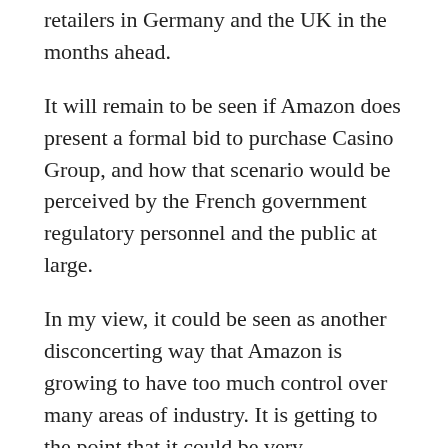retailers in Germany and the UK in the months ahead.
It will remain to be seen if Amazon does present a formal bid to purchase Casino Group, and how that scenario would be perceived by the French government regulatory personnel and the public at large.
In my view, it could be seen as another disconcerting way that Amazon is growing to have too much control over many areas of industry. It is getting to the point that it could be very problematic for several key areas of industry throughout the world if Amazon failed at some point. That should give society some cause for seeking a pause on some of their growth activity.
They also said they were aware with some enterprising...